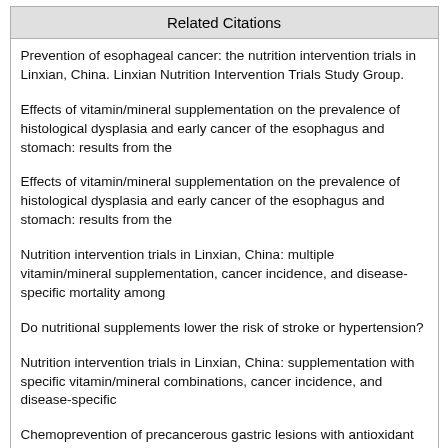| Related Citations |
| --- |
| Prevention of esophageal cancer: the nutrition intervention trials in Linxian, China. Linxian Nutrition Intervention Trials Study Group. |
| Effects of vitamin/mineral supplementation on the prevalence of histological dysplasia and early cancer of the esophagus and stomach: results from the |
| Effects of vitamin/mineral supplementation on the prevalence of histological dysplasia and early cancer of the esophagus and stomach: results from the |
| Nutrition intervention trials in Linxian, China: multiple vitamin/mineral supplementation, cancer incidence, and disease-specific mortality among |
| Do nutritional supplements lower the risk of stroke or hypertension? |
| Nutrition intervention trials in Linxian, China: supplementation with specific vitamin/mineral combinations, cancer incidence, and disease-specific |
| Chemoprevention of precancerous gastric lesions with antioxidant vitamin supplementation: a randomized trial in a high-risk population. |
| Intervention and follow-up on human esophageal precancerous lesions in Henan, northern China, a high-incidence area for esophageal cancer. |
| Linxian nutrition intervention trials. Design, methods, participant characteristics, and compliance. |
| Some considerations in the design of a nutrition intervention trial in Linxian, People's Republic of China. |